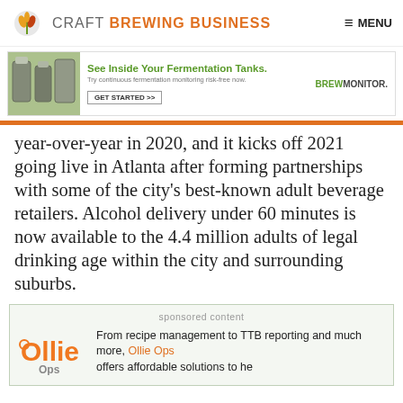CRAFT BREWING BUSINESS — MENU
[Figure (screenshot): Advertisement banner: See Inside Your Fermentation Tanks. Try continuous fermentation monitoring risk-free now. GET STARTED >> BREWMONITOR.]
year-over-year in 2020, and it kicks off 2021 going live in Atlanta after forming partnerships with some of the city's best-known adult beverage retailers. Alcohol delivery under 60 minutes is now available to the 4.4 million adults of legal drinking age within the city and surrounding suburbs.
sponsored content
[Figure (logo): Ollie Ops logo in orange]
From recipe management to TTB reporting and much more, Ollie Ops offers affordable solutions to he